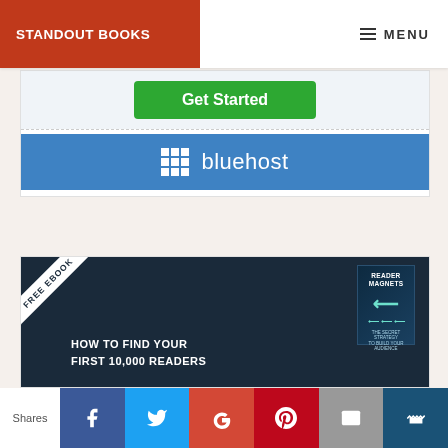STANDOUT BOOKS | MENU
[Figure (screenshot): Bluehost advertisement: green 'Get Started' button on light blue background, below a blue Bluehost logo bar with grid icon and 'bluehost' text]
[Figure (screenshot): Free ebook banner: dark background with diagonal 'FREE EBOOK' ribbon, text 'HOW TO FIND YOUR FIRST 10,000 READERS', book cover for 'Reader Magnets']
Shares | Facebook | Twitter | Google+ | Pinterest | Email | Crown